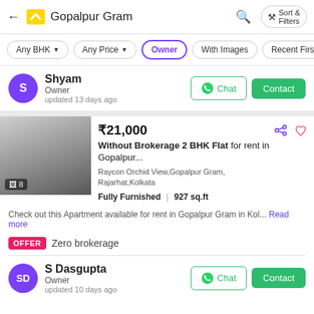Gopalpur Gram
Any BHK | Any Price | Owner | With Images | Recent First
Shyam
Owner
updated 13 days ago
₹21,000
Without Brokerage 2 BHK Flat for rent in Gopalpur...
Raycon Orchid View,Gopalpur Gram, Rajarhat,Kolkata
Fully Furnished | 927 sq.ft
Check out this Apartment available for rent in Gopalpur Gram in Kol... Read more
OFFER  Zero brokerage
S Dasgupta
Owner
updated 10 days ago